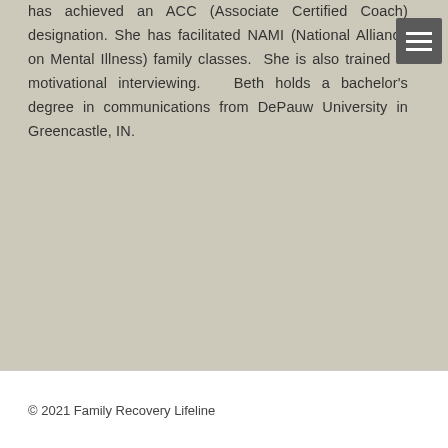has achieved an ACC (Associate Certified Coach) designation. She has facilitated NAMI (National Alliance on Mental Illness) family classes. She is also trained in motivational interviewing. Beth holds a bachelor's degree in communications from DePauw University in Greencastle, IN.
© 2021 Family Recovery Lifeline